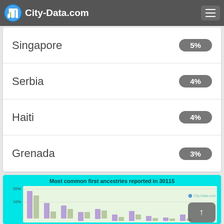City-Data.com
Chile  5%
El Salvador  5%
Singapore  5%
Serbia  4%
Haiti  4%
Grenada  3%
[Figure (bar-chart): Most common first ancestries reported in 30115]